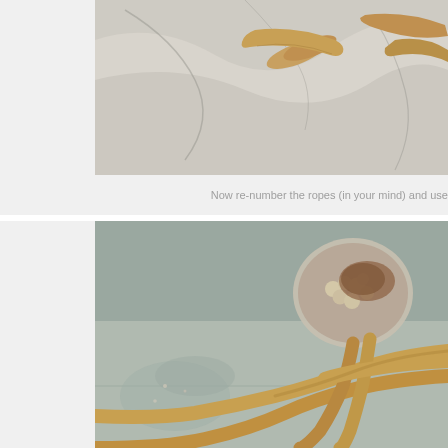[Figure (photo): Close-up photo of dough ropes on a marble/stone surface, dough pieces are golden-tan colored arranged on a grey-white marbled background]
Now re-number the ropes (in your mind) and use
[Figure (photo): Close-up photo showing braided dough ropes being woven together on a grey surface, with some kind of filling visible at the top center of the image]